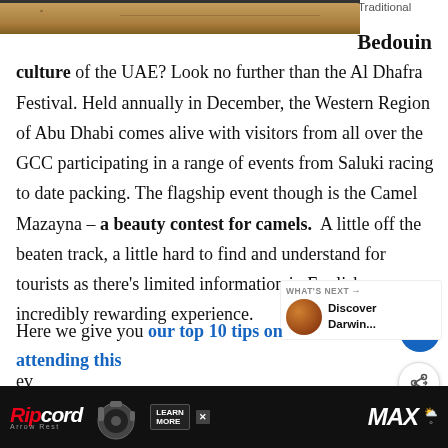[Figure (photo): Desert landscape photo, partial view at the top of the page]
Traditional Bedouin culture of the UAE? Look no further than the Al Dhafra Festival. Held annually in December, the Western Region of Abu Dhabi comes alive with visitors from all over the GCC participating in a range of events from Saluki racing to date packing. The flagship event though is the Camel Mazayna – a beauty contest for camels. A little off the beaten track, a little hard to find and understand for tourists as there's limited information in English an incredibly rewarding experience.
Here we give you our top 10 tips on attending this event...
[Figure (photo): Thumbnail image for 'Discover Darwin...' what's next section]
[Figure (screenshot): Advertisement banner for Ripcord Arrow Rest MAX product at the bottom of the page]